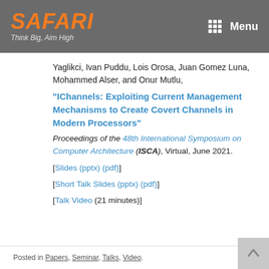SAFARI Think Big, Aim High | Menu
Yaglikci, Ivan Puddu, Lois Orosa, Juan Gomez Luna, Mohammed Alser, and Onur Mutlu,
“IChannels: Exploiting Current Management Mechanisms to Create Covert Channels in Modern Processors”
Proceedings of the 48th International Symposium on Computer Architecture (ISCA), Virtual, June 2021.
[Slides (pptx) (pdf)]
[Short Talk Slides (pptx) (pdf)]
[Talk Video (21 minutes)]
Posted in Papers, Seminar, Talks, Video.